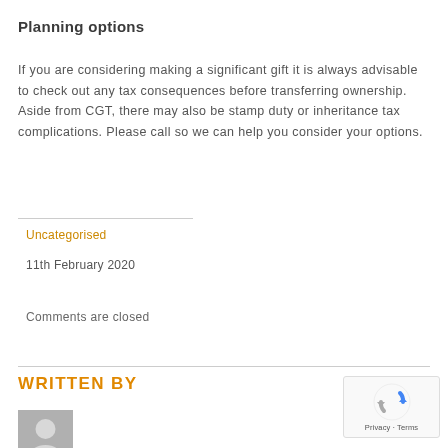Planning options
If you are considering making a significant gift it is always advisable to check out any tax consequences before transferring ownership. Aside from CGT, there may also be stamp duty or inheritance tax complications. Please call so we can help you consider your options.
Uncategorised
11th February 2020
Comments are closed
WRITTEN BY
[Figure (photo): Generic user avatar placeholder image]
[Figure (logo): reCAPTCHA logo with Privacy and Terms text]